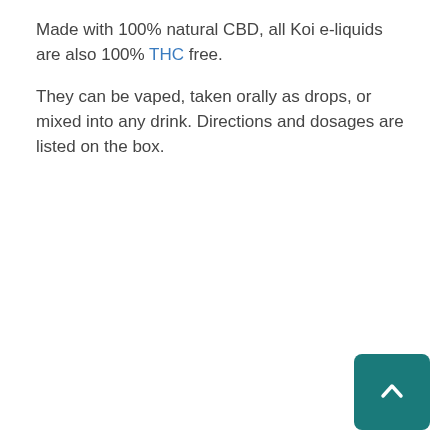Made with 100% natural CBD, all Koi e-liquids are also 100% THC free.
They can be vaped, taken orally as drops, or mixed into any drink. Directions and dosages are listed on the box.